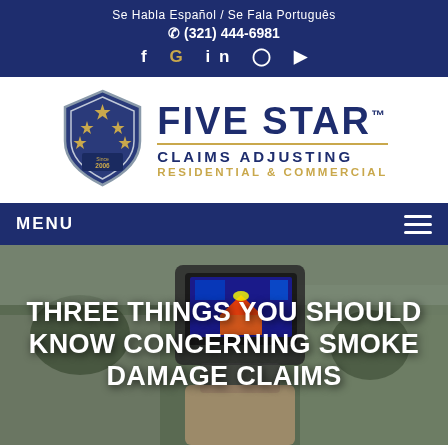Se Habla Español / Se Fala Português
(321) 444-6981
[Figure (logo): Five Star Claims Adjusting logo with shield containing five gold stars and 'Since 2006', next to text 'FIVE STAR CLAIMS ADJUSTING RESIDENTIAL & COMMERCIAL']
MENU
THREE THINGS YOU SHOULD KNOW CONCERNING SMOKE DAMAGE CLAIMS